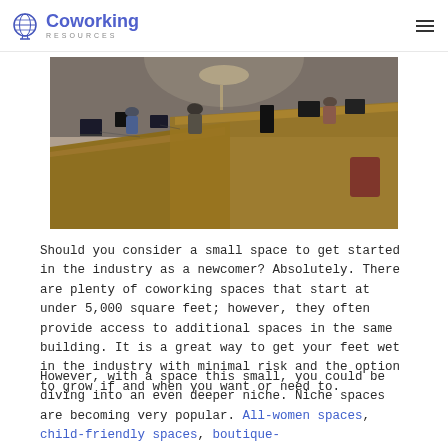Coworking Resources
[Figure (photo): Overhead/bird's-eye view of a coworking space with people working at long wooden desks with computers and monitors in an industrial-style office.]
Should you consider a small space to get started in the industry as a newcomer? Absolutely. There are plenty of coworking spaces that start at under 5,000 square feet; however, they often provide access to additional spaces in the same building. It is a great way to get your feet wet in the industry with minimal risk and the option to grow if and when you want or need to.
However, with a space this small, you could be diving into an even deeper niche. Niche spaces are becoming very popular. All-women spaces, child-friendly spaces, boutique-